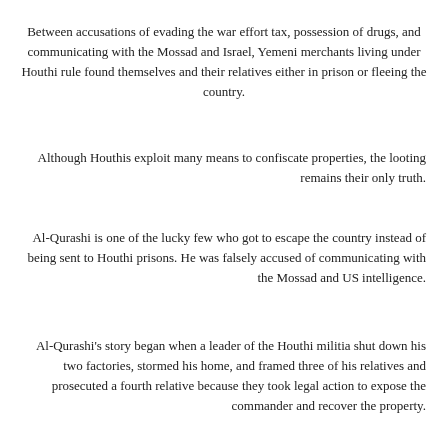Between accusations of evading the war effort tax, possession of drugs, and communicating with the Mossad and Israel, Yemeni merchants living under Houthi rule found themselves and their relatives either in prison or fleeing the country.
Although Houthis exploit many means to confiscate properties, the looting remains their only truth.
Al-Qurashi is one of the lucky few who got to escape the country instead of being sent to Houthi prisons. He was falsely accused of communicating with the Mossad and US intelligence.
Al-Qurashi's story began when a leader of the Houthi militia shut down his two factories, stormed his home, and framed three of his relatives and prosecuted a fourth relative because they took legal action to expose the commander and recover the property.